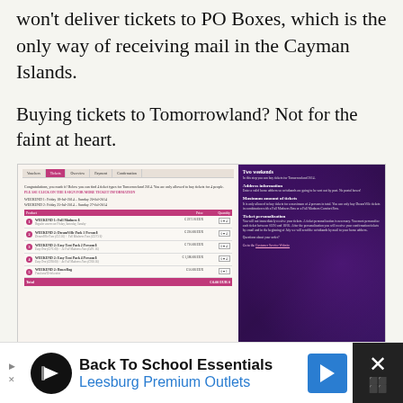won't deliver tickets to PO Boxes, which is the only way of receiving mail in the Cayman Islands.
Buying tickets to Tomorrowland? Not for the faint at heart.
[Figure (screenshot): Screenshot of Tomorrowland 2014 ticket purchase website showing vouchers/tickets tabs, ticket options with prices, and a right panel with address information, maximum amount of tickets, and ticket personalization sections.]
How You Can Get Tickets
[Figure (screenshot): Advertisement banner: Back To School Essentials - Leesburg Premium Outlets with a blue arrow logo and close button]